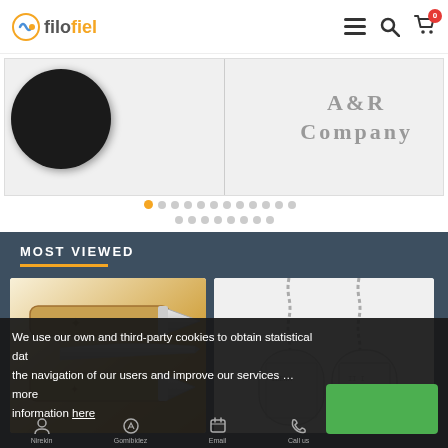filofiel — navigation header with logo, menu, search, and cart icons
[Figure (screenshot): Carousel/slider showing a dark round object on left and A&R Company brand text on right, with pagination dots]
MOST VIEWED
[Figure (photo): Product card showing wooden-handled knives/pocket knife set]
[Figure (photo): Product card showing military-style dog tags on chains]
We use our own and third-party cookies to obtain statistical data the navigation of our users and improve our services … more information here